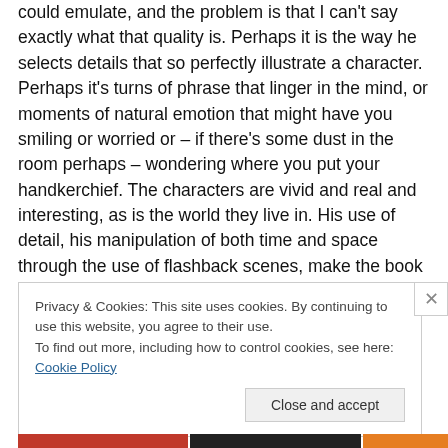could emulate, and the problem is that I can't say exactly what that quality is. Perhaps it is the way he selects details that so perfectly illustrate a character. Perhaps it's turns of phrase that linger in the mind, or moments of natural emotion that might have you smiling or worried or – if there's some dust in the room perhaps – wondering where you put your handkerchief. The characters are vivid and real and interesting, as is the world they live in. His use of detail, his manipulation of both time and space through the use of flashback scenes, make the book great entertainment.
Privacy & Cookies: This site uses cookies. By continuing to use this website, you agree to their use.
To find out more, including how to control cookies, see here: Cookie Policy
Close and accept